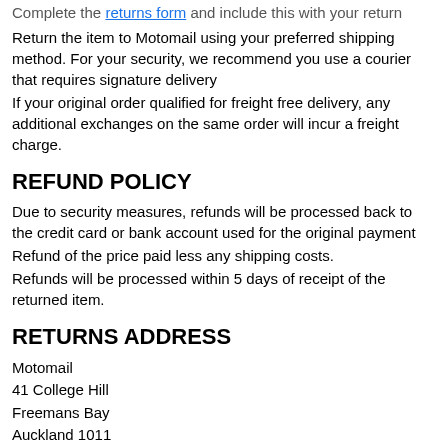Complete the returns form and include this with your return
Return the item to Motomail using your preferred shipping method. For your security, we recommend you use a courier that requires signature delivery
If your original order qualified for freight free delivery, any additional exchanges on the same order will incur a freight charge.
REFUND POLICY
Due to security measures, refunds will be processed back to the credit card or bank account used for the original payment
Refund of the price paid less any shipping costs.
Refunds will be processed within 5 days of receipt of the returned item.
RETURNS ADDRESS
Motomail
41 College Hill
Freemans Bay
Auckland 1011
(09) 379 9050